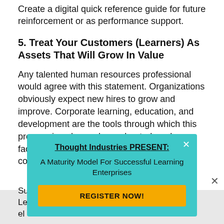Create a digital quick reference guide for future reinforcement or as performance support.
5. Treat Your Customers (Learners) As Assets That Will Grow In Value
Any talented human resources professional would agree with this statement. Organizations obviously expect new hires to grow and improve. Corporate learning, education, and development are the tools through which this process is enhanced, accelerated, and facilitated. However, if the quality of most corporate learning is any indication,
[Figure (other): Popup overlay with teal background. Title: 'Thought Industries PRESENT:' (bold, underlined). Subtitle: 'A Maturity Model For Successful Learning Enterprises'. Yellow button: 'REGISTER NOW!'. Close X in top-right corner.]
Su Le el